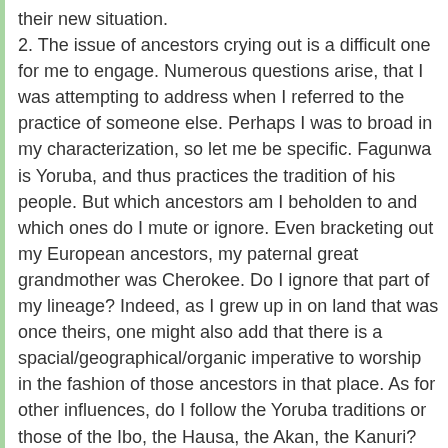their new situation.
2. The issue of ancestors crying out is a difficult one for me to engage. Numerous questions arise, that I was attempting to address when I referred to the practice of someone else. Perhaps I was to broad in my characterization, so let me be specific. Fagunwa is Yoruba, and thus practices the tradition of his people. But which ancestors am I beholden to and which ones do I mute or ignore. Even bracketing out my European ancestors, my paternal great grandmother was Cherokee. Do I ignore that part of my lineage? Indeed, as I grew up in on land that was once theirs, one might also add that there is a spacial/geographical/organic imperative to worship in the fashion of those ancestors in that place. As for other influences, do I follow the Yoruba traditions or those of the Ibo, the Hausa, the Akan, the Kanuri? Do I blend them and if so, does that not do violence to the integrity